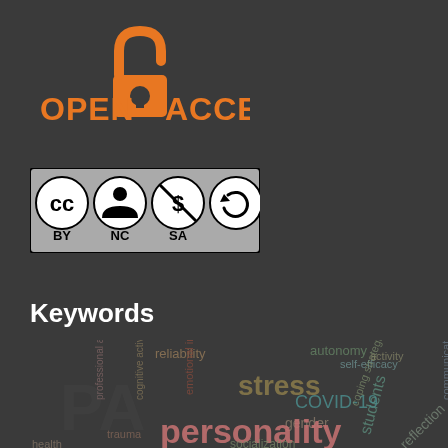[Figure (logo): Open Access logo with orange open lock icon and orange text 'OPEN ACCESS']
[Figure (logo): Creative Commons license badge: CC BY NC SA]
Keywords
[Figure (infographic): Word cloud containing terms: reliability, autonomy, self-efficacy, professional activity, cognitive activity, emotional intelligence, stress, students, COVID-19, gender, personality, socialization, coping strategies, communication, activity, internet readiness, trauma, reflection, health]